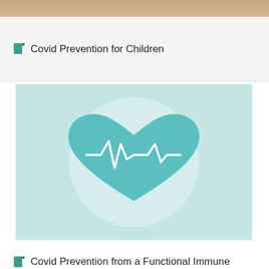[Figure (photo): Partial view of a photo strip at the top of the page showing warm-toned skin/hands image cropped]
Covid Prevention for Children
[Figure (illustration): Teal/light blue square card with a heart icon containing an ECG/heartbeat line inside a circular background, on a light teal background]
Covid Prevention from a Functional Immune Perspective